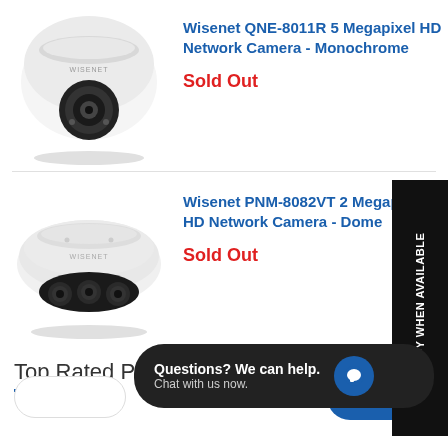[Figure (photo): Wisenet dome security camera - turret style, white with black lens, viewed from front-bottom angle. WISENET text on body.]
Wisenet QNE-8011R 5 Megapixel HD Network Camera - Monochrome
Sold Out
[Figure (photo): Wisenet panoramic multi-lens dome camera, wide white housing with multiple lenses visible underneath, WISENET text on body.]
Wisenet PNM-8082VT 2 Megapixel HD Network Camera - Dome
Sold Out
Top Rated Products
NOTIFY WHEN AVAILABLE
Questions? We can help. Chat with us now.
d to cart